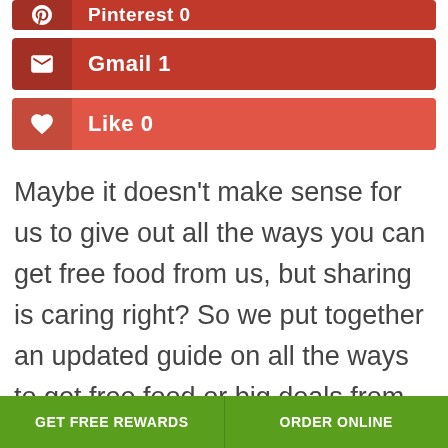Pinterest 0
Gmail 1
Like 0
Maybe it doesn't make sense for us to give out all the ways you can get free food from us, but sharing is caring right? So we put together an updated guide on all the ways to get free food or big deals from Subway.
GET FREE REWARDS   ORDER ONLINE